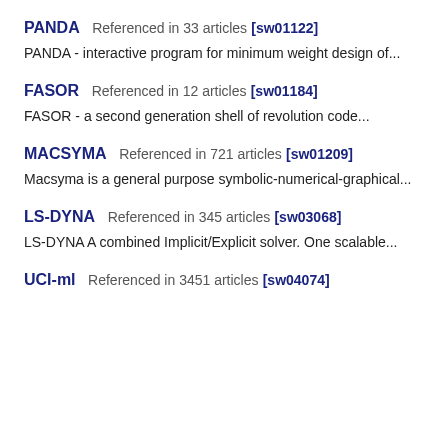PANDA  Referenced in 33 articles [sw01122]
PANDA - interactive program for minimum weight design of...
FASOR  Referenced in 12 articles [sw01184]
FASOR - a second generation shell of revolution code...
MACSYMA  Referenced in 721 articles [sw01209]
Macsyma is a general purpose symbolic-numerical-graphical...
LS-DYNA  Referenced in 345 articles [sw03068]
LS-DYNA A combined Implicit/Explicit solver. One scalable...
UCI-ml  Referenced in 3451 articles [sw04074]